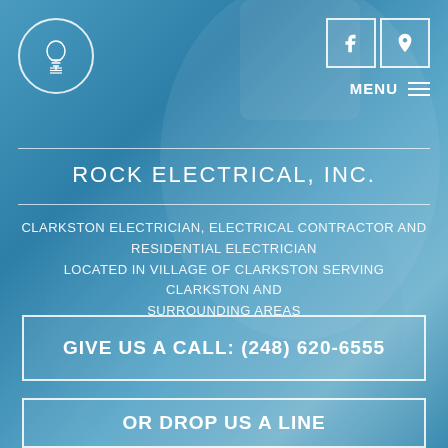[Figure (photo): Background photo of a close-up light bulb (incandescent) against a blue background, serving as the page hero image for Rock Electrical, Inc. website screenshot]
Rock Electrical Inc. logo (lightbulb icon in circle), Facebook icon, map/location icon, MENU
ROCK ELECTRICAL, INC.
CLARKSTON ELECTRICIAN, ELECTRICAL CONTRACTOR AND RESIDENTIAL ELECTRICIAN
LOCATED IN VILLAGE OF CLARKSTON SERVING CLARKSTON AND SURROUNDING AREAS
GIVE US A CALL: (248) 620-6555
OR DROP US A LINE